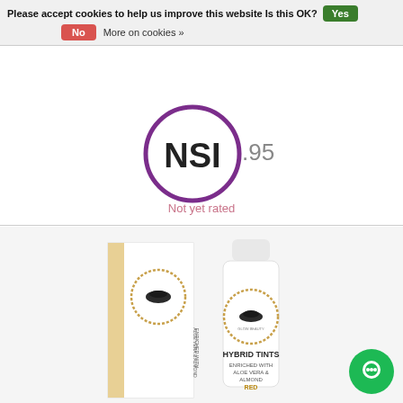Please accept cookies to help us improve this website Is this OK?  Yes  No  More on cookies »
[Figure (logo): NSI logo — circular purple arc with bold NSI text, partially overlapping a price element showing .95]
Not yet rated
[Figure (photo): Product photo of Hybrid Tint Lash & Brow Tint Red by Glow Beauty. Shows a white box packaging and a squeeze tube. Box text reads: HYBRID TINT, LASH & BROW TINT, RED, ENRICHED WITH ALOE VERA & ALMOND. Tube text reads: HYBRID TINTS, ENRICHED WITH ALOE VERA & ALMOND, RED.]